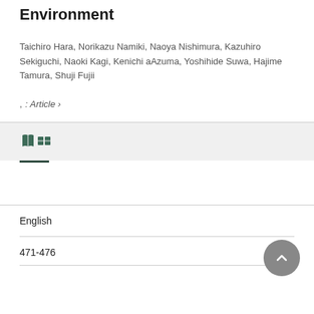Environment
Taichiro Hara, Norikazu Namiki, Naoya Nishimura, Kazuhiro Sekiguchi, Naoki Kagi, Kenichi aAzuma, Yoshihide Suwa, Hajime Tamura, Shuji Fujii
,
: Article ›
English
471-476